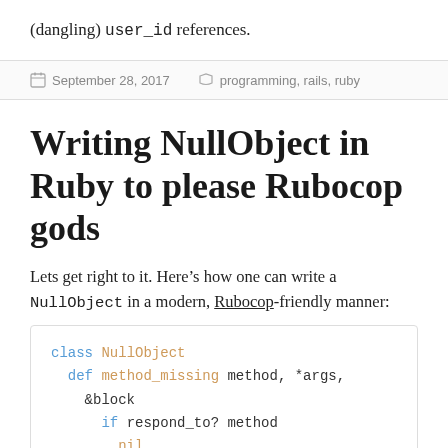(dangling) user_id references.
September 28, 2017   programming, rails, ruby
Writing NullObject in Ruby to please Rubocop gods
Lets get right to it. Here’s how one can write a NullObject in a modern, Rubocop-friendly manner:
[Figure (screenshot): Code block showing Ruby class NullObject with method_missing, respond_to?, nil, else, super]